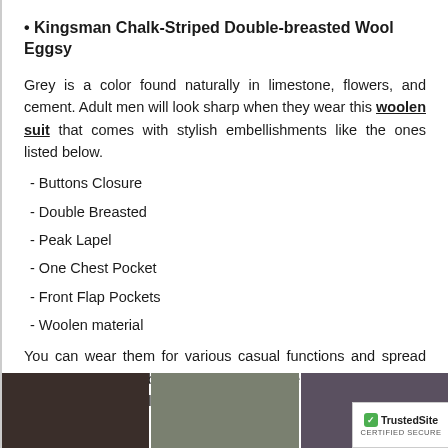Kingsman Chalk-Striped Double-breasted Wool Eggsy
Grey is a color found naturally in limestone, flowers, and cement. Adult men will look sharp when they wear this woolen suit that comes with stylish embellishments like the ones listed below.
- Buttons Closure
- Double Breasted
- Peak Lapel
- One Chest Pocket
- Front Flap Pockets
- Woolen material
You can wear them for various casual functions and spread positivity. Men can bring out a scary element and put others in fear in the party hall.
[Figure (photo): Three photos of men wearing Kingsman suits at the bottom of the page, with a TrustedSite certified secure badge in the bottom-right corner.]